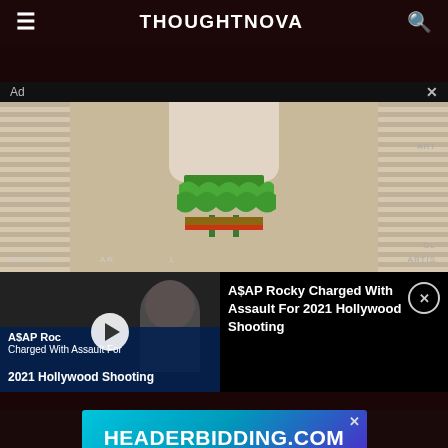THOUGHTNOVA
[Figure (screenshot): Ad overlay showing a Gucci mannequin with green ruffled skirt on wicker background, with a video popup for 'A$AP Rocky Charged With Assault For 2021 Hollywood Shooting' and a HEADERBIDDING.COM banner ad]